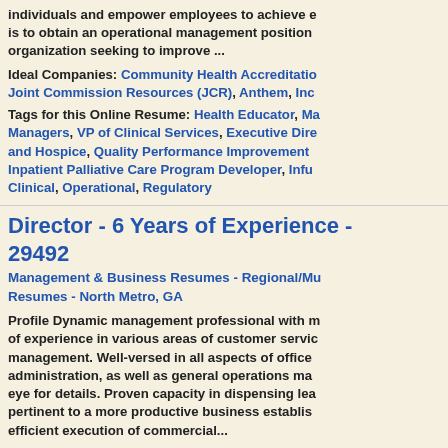individuals and empower employees to achieve e... is to obtain an operational management position... organization seeking to improve ...
Ideal Companies: Community Health Accreditation, Joint Commission Resources (JCR), Anthem, Inc
Tags for this Online Resume: Health Educator, Ma... Managers, VP of Clinical Services, Executive Dire... and Hospice, Quality Performance Improvement... Inpatient Palliative Care Program Developer, Infu... Clinical, Operational, Regulatory
Director - 6 Years of Experience - 29492
Management & Business Resumes - Regional/Mu... Resumes - North Metro, GA
Profile Dynamic management professional with m... of experience in various areas of customer servic... management. Well-versed in all aspects of office... administration, as well as general operations ma... eye for details. Proven capacity in dispensing lea... pertinent to a more productive business establis... efficient execution of commercial...
Tags for this Online Resume: Profit and Loss...